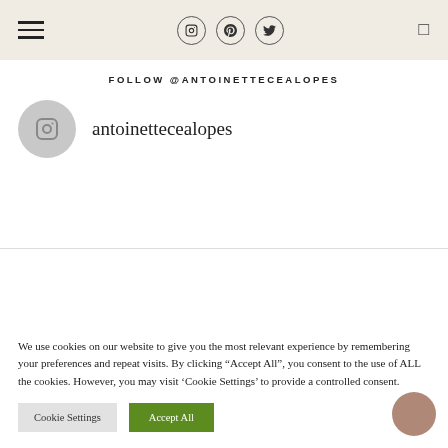FOLLOW @ANTOINETTECEALOPES
antoinettecealopes
We use cookies on our website to give you the most relevant experience by remembering your preferences and repeat visits. By clicking “Accept All”, you consent to the use of ALL the cookies. However, you may visit ‘Cookie Settings’ to provide a controlled consent.
Cookie Settings
Accept All